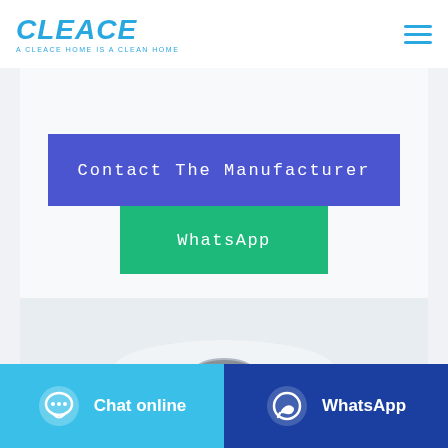[Figure (logo): CLEACE brand logo in blue italic bold text with tagline 'A CLEACE HOME IS A CLEAN HOME']
[Figure (illustration): Hamburger menu icon (three horizontal blue lines) in top right corner]
Contact The Manufacturer
WhatsApp
[Figure (photo): A white jumbo toilet paper roll on a light blue-grey background]
Chat online
WhatsApp